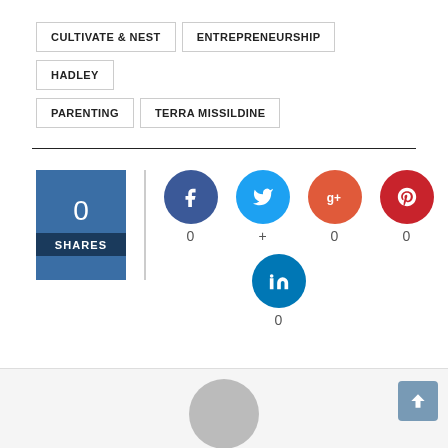CULTIVATE & NEST
ENTREPRENEURSHIP
HADLEY
PARENTING
TERRA MISSILDINE
[Figure (infographic): Social share widget showing 0 total shares, with Facebook (0), Twitter (+), Google+ (0), Pinterest (0), and LinkedIn (0) sharing buttons as colored circles]
[Figure (infographic): Bottom area with gray background showing partial avatar/profile image placeholder and a scroll-to-top button]